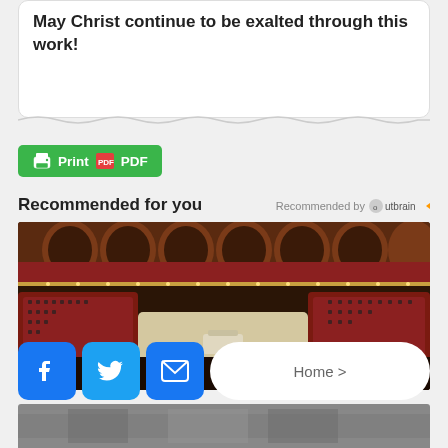May Christ continue to be exalted through this work!
[Figure (other): Print and PDF button with green background]
Recommended for you
Recommended by Outbrain
[Figure (photo): Interior of a large parliamentary chamber filled with legislators, ornate arched balconies with red draping]
[Figure (other): Social sharing bar with Facebook, Twitter, Email icons and Home navigation button]
[Figure (photo): Bottom strip showing partial image of another scene]